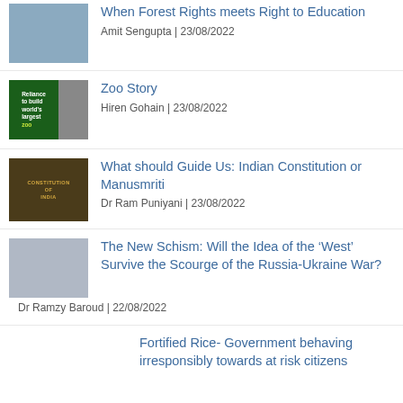[Figure (photo): Child holding a chalkboard sign]
When Forest Rights meets Right to Education
Amit Sengupta | 23/08/2022
[Figure (photo): Reliance zoo composite image]
Zoo Story
Hiren Gohain | 23/08/2022
[Figure (photo): Constitution of India book cover]
What should Guide Us: Indian Constitution or Manusmriti
Dr Ram Puniyani | 23/08/2022
[Figure (photo): Photo of Dr Ramzy Baroud speaking]
The New Schism: Will the Idea of the ‘West’ Survive the Scourge of the Russia-Ukraine War?
Dr Ramzy Baroud | 22/08/2022
Fortified Rice- Government behaving irresponsibly towards at risk citizens